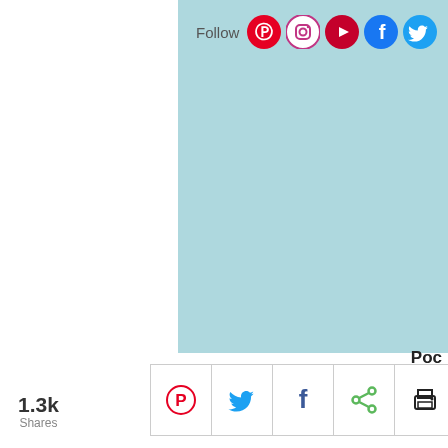[Figure (screenshot): Social media follow bar with icons for Pinterest, Instagram, YouTube, Facebook, and Twitter on a light blue background]
Poc
Sh
1.3k Shares
[Figure (infographic): Share buttons bar with Pinterest, Twitter, Facebook, generic share, and print icons]